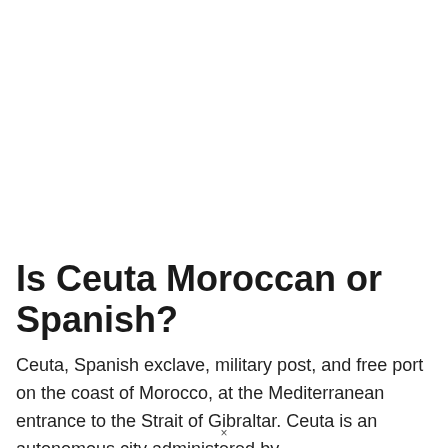Is Ceuta Moroccan or Spanish?
Ceuta, Spanish exclave, military post, and free port on the coast of Morocco, at the Mediterranean entrance to the Strait of Gibraltar. Ceuta is an autonomous city administered by –
×